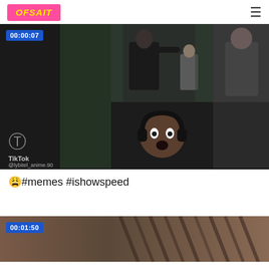OFSAIT
[Figure (screenshot): Video thumbnail showing a TikTok multi-panel video: left panel shows TikTok logo and handle @lybitel_anime.90, center top shows a fight scene with a person in black, center bottom shows a reaction face with headphones, timestamp 00:00:07 in blue overlay]
😩#memes #ishowspeed
[Figure (screenshot): Partial video thumbnail with blurred brownish background, timestamp 00:01:50 in blue overlay]